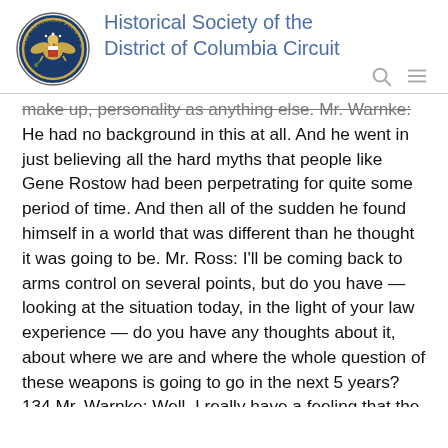Historical Society of the District of Columbia Circuit
make up, personality as anything else. Mr. Warnke: He had no background in this at all. And he went in just believing all the hard myths that people like Gene Rostow had been perpetrating for quite some period of time. And then all of the sudden he found himself in a world that was different than he thought it was going to be. Mr. Ross: I'll be coming back to arms control on several points, but do you have — looking at the situation today, in the light of your law experience — do you have any thoughts about it, about where we are and where the whole question of these weapons is going to go in the next 5 years? 134 Mr. Warnke: Well, I really have a feeling that the strong anti-Russian sentiment